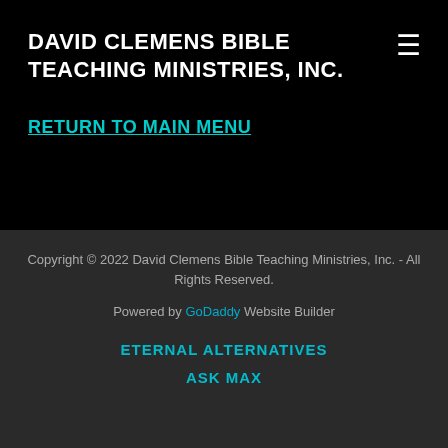DAVID CLEMENS BIBLE TEACHING MINISTRIES, INC.
≡
RETURN TO MAIN MENU
Copyright © 2022 David Clemens Bible Teaching Ministries, Inc. - All Rights Reserved.
Powered by GoDaddy Website Builder
ETERNAL ALTERNATIVES
ASK MAX